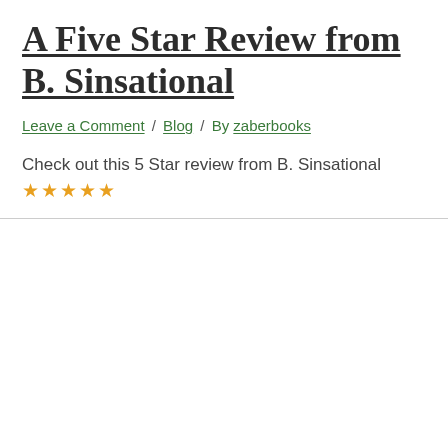A Five Star Review from B. Sinsational
Leave a Comment / Blog / By zaberbooks
Check out this 5 Star review from B. Sinsational ★★★★★